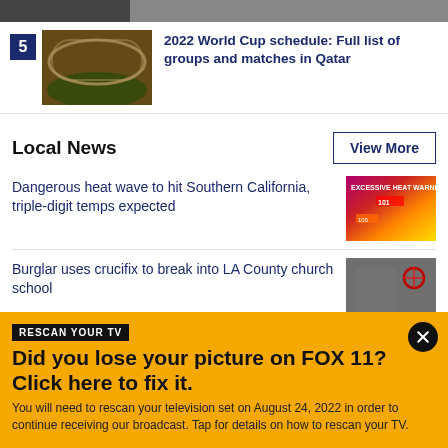[Figure (photo): Partial image at top of page (cropped)]
5 — 2022 World Cup schedule: Full list of groups and matches in Qatar
Local News
View More
Dangerous heat wave to hit Southern California, triple-digit temps expected
[Figure (photo): Heat wave warning map thumbnail]
Burglar uses crucifix to break into LA County church school
[Figure (photo): Black and white security camera footage thumbnail]
RESCAN YOUR TV
Did you lose your picture on FOX 11? Click here to fix it.
You will need to rescan your television set on August 24, 2022 in order to continue receiving our broadcast. Tap for details on how to rescan your TV.